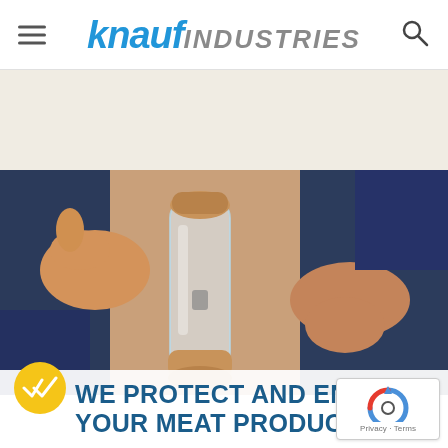knauf INDUSTRIES
[Figure (photo): Person in dark blue shirt holding a clear glass pepper mill with wooden top and base, using a pepper grinder mechanism, warm blurred background]
WE PROTECT AND ENHANCE YOUR MEAT PRODUCTS